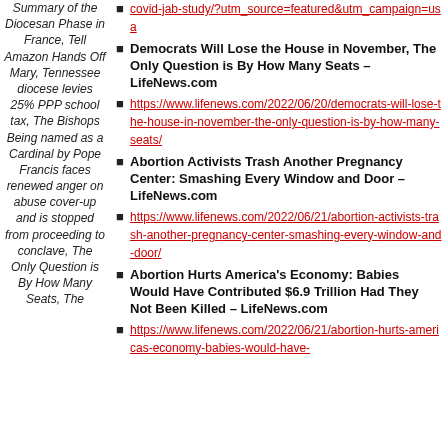Summary of the Diocesan Phase in France, Tell Amazon Hands Off Mary, Tennessee diocese levies 25% PPP school tax, The Bishops Being named as a Cardinal by Pope Francis faces renewed anger on abuse cover-up and is stopped from proceeding to conclave, The Only Question is By How Many Seats, The
Democrats Will Lose the House in November, The Only Question is By How Many Seats – LifeNews.com
https://www.lifenews.com/2022/06/20/democrats-will-lose-the-house-in-november-the-only-question-is-by-how-many-seats/
Abortion Activists Trash Another Pregnancy Center: Smashing Every Window and Door – LifeNews.com
https://www.lifenews.com/2022/06/21/abortion-activists-trash-another-pregnancy-center-smashing-every-window-and-door/
Abortion Hurts America's Economy: Babies Would Have Contributed $6.9 Trillion Had They Not Been Killed – LifeNews.com
https://www.lifenews.com/2022/06/21/abortion-hurts-americas-economy-babies-would-have-